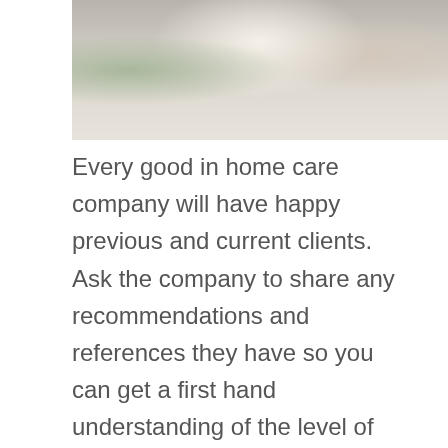[Figure (photo): Photo of elderly people sitting together at a table with tea cups, white flowers in background, warm indoor setting]
Every good in home care company will have happy previous and current clients. Ask the company to share any recommendations and references they have so you can get a first hand understanding of the level of care they provide.
If the in home care provider can connect you with a family or two, be sure to ask the family questions about their experience and the care their loved one received. Don't forget to also ask about the